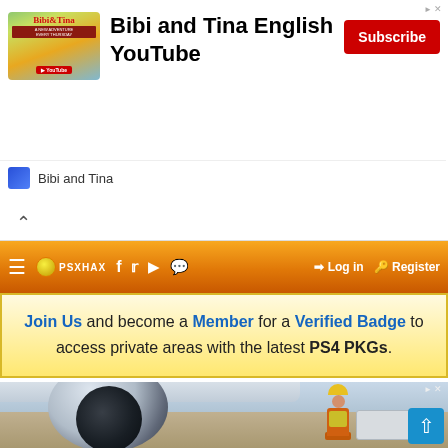[Figure (screenshot): Advertisement banner for Bibi and Tina English YouTube channel with thumbnail image, channel name, and Subscribe button]
Bibi and Tina English YouTube
Subscribe
Bibi and Tina
[Figure (screenshot): Navigation bar with hamburger menu, PSXHAX logo, social media icons (Facebook, Twitter, YouTube, chat), Log in and Register links on orange gradient background]
Log in
Register
Join Us and become a Member for a Verified Badge to access private areas with the latest PS4 PKGs.
[Figure (photo): Airplane jet engine close-up on tarmac with a worker in yellow hard hat and orange/yellow safety vest standing with arms crossed in the background, plus a white service vehicle]